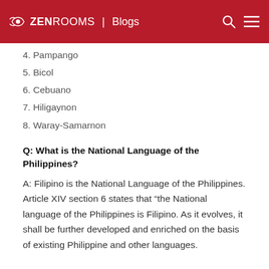ZEN ROOMS | Blogs
4. Pampango
5. Bicol
6. Cebuano
7. Hiligaynon
8. Waray-Samarnon
Q: What is the National Language of the Philippines?
A: Filipino is the National Language of the Philippines. Article XIV section 6 states that “the National language of the Philippines is Filipino. As it evolves, it shall be further developed and enriched on the basis of existing Philippine and other languages.